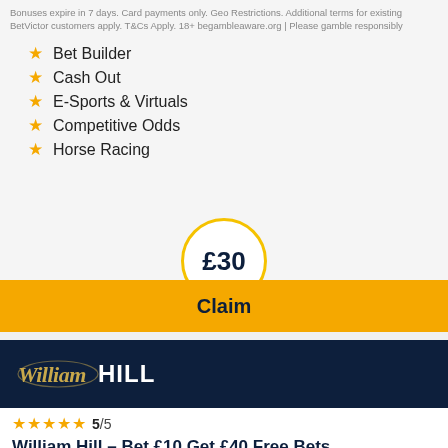Bonuses expire in 7 days. Card payments only. Geo Restrictions. Additional terms for existing BetVictor customers apply. T&Cs Apply. 18+ begambleaware.org | Please gamble responsibly
Bet Builder
Cash Out
E-Sports & Virtuals
Competitive Odds
Horse Racing
£30
Claim
[Figure (logo): William Hill logo on dark navy background]
5/5
William Hill – Bet £10 Get £40 Free Bets